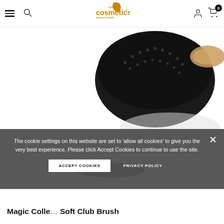web cosmetics (logo) — hamburger menu, search, user account, cart (0)
[Figure (photo): Close-up photo of a black round hair brush (club brush) with dense bristles on a white background, partially visible at top center-right of page.]
The cookie settings on this website are set to 'allow all cookies' to give you the very best experience. Please click Accept Cookies to continue to use the site.
ACCEPT COOKIES
PRIVACY POLICY
Magic Colle… Soft Club Brush